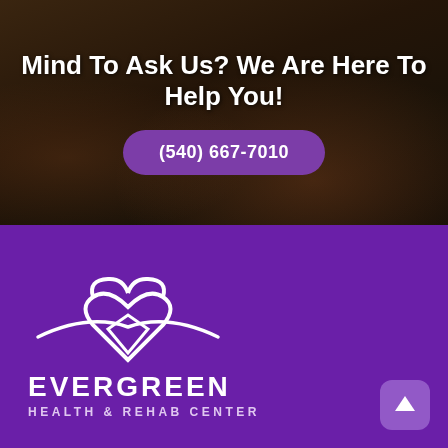Mind To Ask Us? We Are Here To Help You!
(540) 667-7010
[Figure (logo): Evergreen Health & Rehab Center logo: white heart shape with wings/swoosh on purple background, with text EVERGREEN HEALTH & REHAB CENTER below]
EVERGREEN
HEALTH & REHAB CENTER